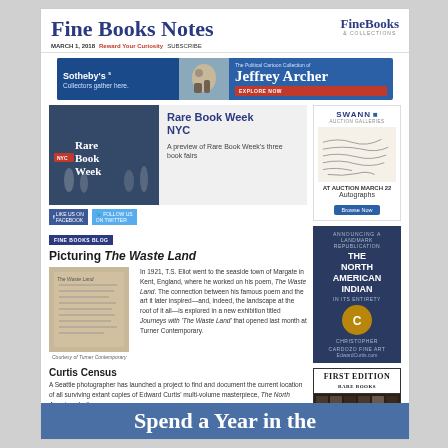Fine Books Notes
MARCH 1, 2018  Reward Your Curiosity  SUBSCRIBE
[Figure (advertisement): Sotheby's and Jeffrey Archer Political Cartoon Collection advertisement banner]
[Figure (photo): Rare Book Week NYC promotional image]
Rare Book Week NYC
A preview of Rare Book Week's three book fairs
FINE BOOKS BLOG
Picturing The Waste Land
[Figure (photo): Manuscript of The Waste Land]
Courtesy of Turner Contemporary
In 1921, T.S. Eliot went to the seaside town of Margate in Kent, England, where he worked on his poem, The Waste Land. The connection between his famous poem and the art it later inspired—and, indeed, the landscape at the root of it all—is explored in a new exhibition titled Journeys with 'The Waste Land' that opened last month at Turner Contemporary.
Curtis Census
A Seattle photographer has launched a project to find and document the current location of all surviving extant copies of Edward Curtis' multi-volume masterpiece, The North American Indian.
Postcard from Stuttgart
Bookseller Marc Harrison of Harrison-Hiett Rare Books walks us through the ILAB book fair in Stuttgart and the 'shadow show' in Ludwigsburg.
Sylvia Plath's Typewriter
[Figure (advertisement): Swann Auction Galleries - Autographs auction March 22]
[Figure (advertisement): The North American Indian republication announcement - Christopher Cardozo Fine Art]
[Figure (advertisement): First Edition Rare Books advertisement]
Spend a Year in the